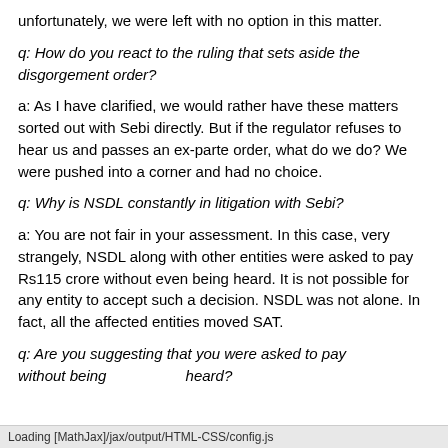unfortunately, we were left with no option in this matter.
q: How do you react to the ruling that sets aside the disgorgement order?
a: As I have clarified, we would rather have these matters sorted out with Sebi directly. But if the regulator refuses to hear us and passes an ex-parte order, what do we do? We were pushed into a corner and had no choice.
q: Why is NSDL constantly in litigation with Sebi?
a: You are not fair in your assessment. In this case, very strangely, NSDL along with other entities were asked to pay Rs115 crore without even being heard. It is not possible for any entity to accept such a decision. NSDL was not alone. In fact, all the affected entities moved SAT.
q: Are you suggesting that you were asked to pay without being heard?
Loading [MathJax]/jax/output/HTML-CSS/config.js